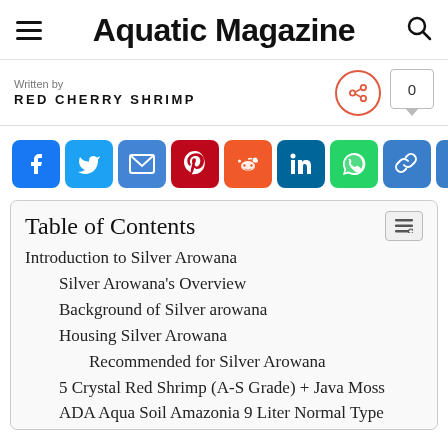Aquatic Magazine
Written by
REDCHERRYSHRIMP
[Figure (infographic): Social share buttons row: Facebook, Twitter, Email, Pinterest, Reddit, LinkedIn, WhatsApp, Copy Link, More]
Table of Contents
Introduction to Silver Arowana
Silver Arowana's Overview
Background of Silver arowana
Housing Silver Arowana
Recommended for Silver Arowana
5 Crystal Red Shrimp (A-S Grade) + Java Moss
ADA Aqua Soil Amazonia 9 Liter Normal Type